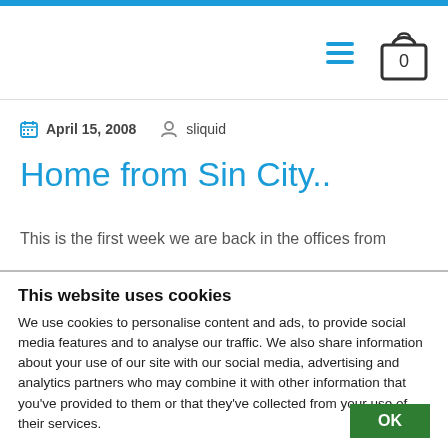Navigation header with hamburger menu and cart icon (0 items)
April 15, 2008   sliquid
Home from Sin City..
This is the first week we are back in the offices from
This website uses cookies
We use cookies to personalise content and ads, to provide social media features and to analyse our traffic. We also share information about your use of our site with our social media, advertising and analytics partners who may combine it with other information that you've provided to them or that they've collected from your use of their services.
OK